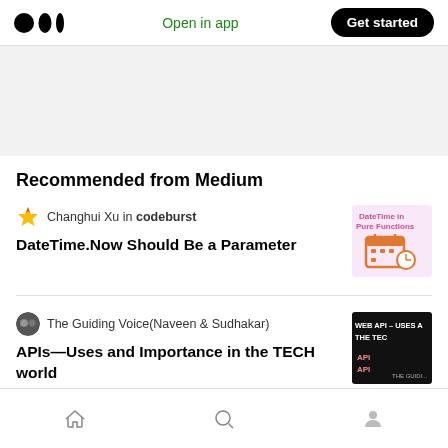Medium logo | Open in app | Get started
[Figure (other): Gray banner/advertisement placeholder area]
Recommended from Medium
Changhui Xu in codeburst
DateTime.Now Should Be a Parameter
[Figure (illustration): Article thumbnail: DateTime in Pure Functions with calendar icon]
The Guiding Voice(Naveen & Sudhakar)
APIs—Uses and Importance in the TECH world
[Figure (screenshot): Article thumbnail: WEB API – USES & THE TECH world dark background]
Home | Search | Profile icons